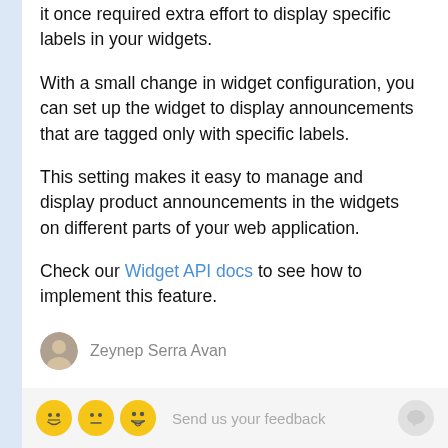it once required extra effort to display specific labels in your widgets.
With a small change in widget configuration, you can set up the widget to display announcements that are tagged only with specific labels.
This setting makes it easy to manage and display product announcements in the widgets on different parts of your web application.
Check our Widget API docs to see how to implement this feature.
Zeynep Serra Avan
Send us your feedback